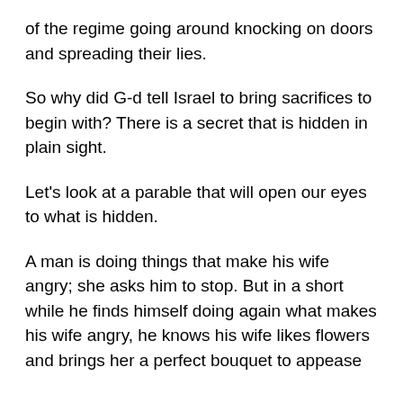of the regime going around knocking on doors and spreading their lies.
So why did G-d tell Israel to bring sacrifices to begin with? There is a secret that is hidden in plain sight.
Let's look at a parable that will open our eyes to what is hidden.
A man is doing things that make his wife angry; she asks him to stop. But in a short while he finds himself doing again what makes his wife angry, he knows his wife likes flowers and brings her a perfect bouquet to appease